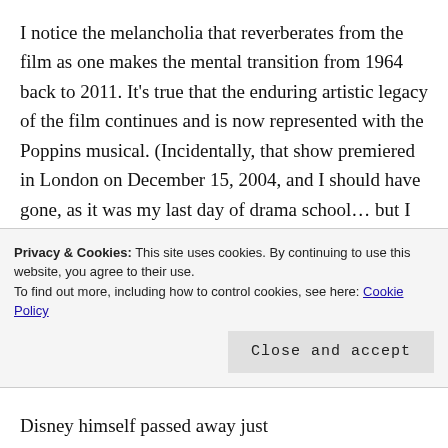I notice the melancholia that reverberates from the film as one makes the mental transition from 1964 back to 2011. It's true that the enduring artistic legacy of the film continues and is now represented with the Poppins musical. (Incidentally, that show premiered in London on December 15, 2004, and I should have gone, as it was my last day of drama school… but I was getting ready to tour the
Privacy & Cookies: This site uses cookies. By continuing to use this website, you agree to their use.
To find out more, including how to control cookies, see here: Cookie Policy
Disney himself passed away just